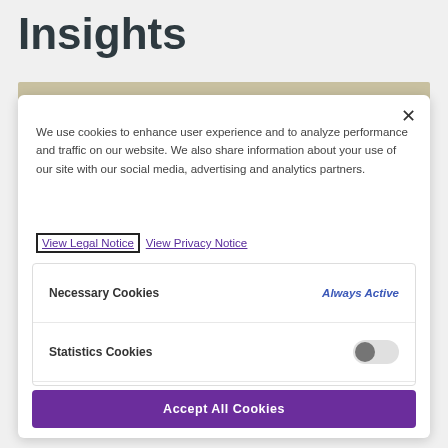Insights
We use cookies to enhance user experience and to analyze performance and traffic on our website. We also share information about your use of our site with our social media, advertising and analytics partners.
View Legal Notice  View Privacy Notice
| Cookie Type | Status |
| --- | --- |
| Necessary Cookies | Always Active |
| Statistics Cookies | [toggle off] |
| Marketing Cookies | [toggle off] |
Accept All Cookies